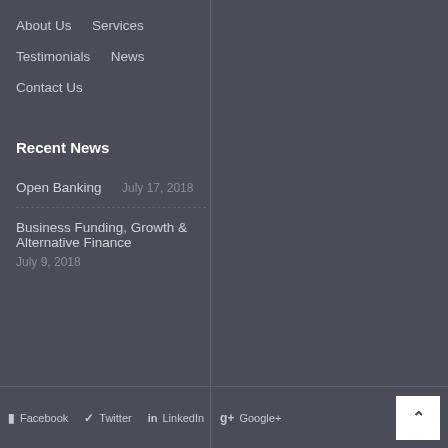About Us
Services
Testimonials
News
Contact Us
Recent News
Open Banking
July 17, 2018
Business Funding, Growth & Alternative Finance
July 9, 2018
Facebook  Twitter  LinkedIn  Google+